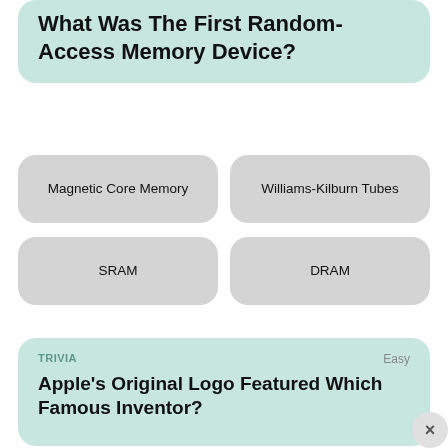What Was The First Random-Access Memory Device?
Magnetic Core Memory
Williams-Kilburn Tubes
SRAM
DRAM
TRIVIA
Easy
Apple's Original Logo Featured Which Famous Inventor?